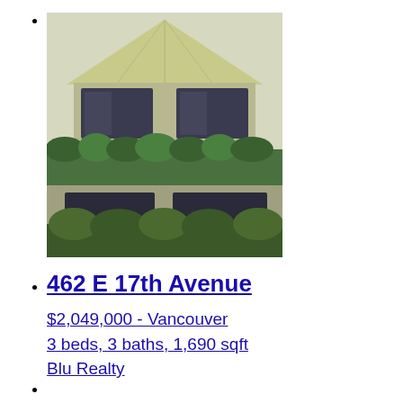[Figure (photo): Exterior photo of a house with a peaked roof, large windows, and green foliage/hedges in the foreground.]
462 E 17th Avenue
$2,049,000 - Vancouver
3 beds, 3 baths, 1,690 sqft
Blu Realty
2819 E 42nd Avenue
$2,280,000 - Vancouver
5 beds, 4 baths, 2,221 sqft
RE/MAX Select Properties